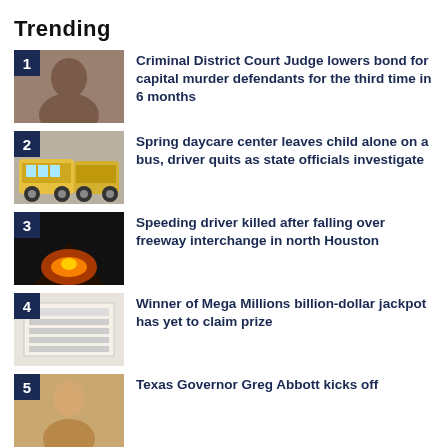Trending
1 Criminal District Court Judge lowers bond for capital murder defendants for the third time in 6 months
2 Spring daycare center leaves child alone on a bus, driver quits as state officials investigate
3 Speeding driver killed after falling over freeway interchange in north Houston
4 Winner of Mega Millions billion-dollar jackpot has yet to claim prize
5 Texas Governor Greg Abbott kicks off